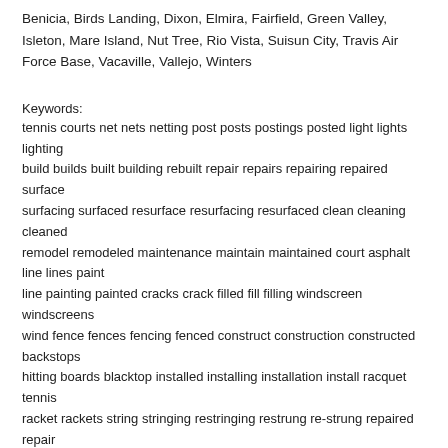Benicia, Birds Landing, Dixon, Elmira, Fairfield, Green Valley, Isleton, Mare Island, Nut Tree, Rio Vista, Suisun City, Travis Air Force Base, Vacaville, Vallejo, Winters
Keywords:
tennis courts net nets netting post posts postings posted light lights lighting build builds built building rebuilt repair repairs repairing repaired surface surfacing surfaced resurface resurfacing resurfaced clean cleaning cleaned remodel remodeled maintenance maintain maintained court asphalt line lines paint line painting painted cracks crack filled fill filling windscreen windscreens wind fence fences fencing fenced construct construction constructed backstops hitting boards blacktop installed installing installation install racquet tennis racket rackets string stringing restringing restrung re-strung repaired repair service services serviced servicing customize customized customizing clubs tennis courts tennis court cracks filled and repaired ball machine machines bocce ball courts court courts basketball Johnnys Johnnies Johnny's Court Surfacing quality craftsmanship for all of your tennis court needs done by Johnny's Court Surfacing at www.johnnyscoursurfacing.com formerly known as Johnny's Tennis Courts Keywords for